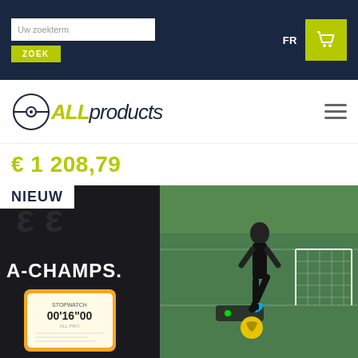Uw zoekterm | ZOEK | FR | [cart]
[Figure (logo): ALLproducts logo with circle and tennis ball icon]
€ 1 208,79
NIEUW
[Figure (photo): A-Champs product photo: left side shows dark background with A-CHAMPS logo and a smartphone displaying a timer '00'16'00', right side shows a footballer on a green pitch kicking a yellow ball with a goal net in background.]